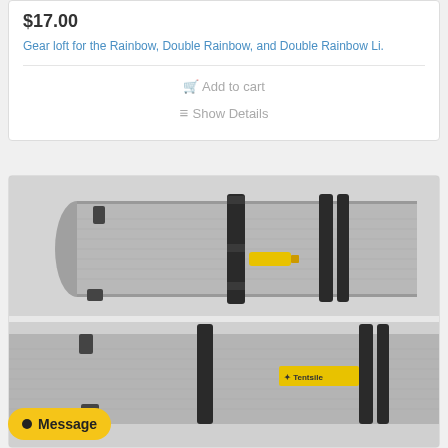$17.00
Gear loft for the Rainbow, Double Rainbow, and Double Rainbow Li.
Add to cart
Show Details
[Figure (photo): Close-up photo of a gray fabric gear loft accessory with black velcro straps and yellow clip hardware, showing two views of the product. A Tentsile brand label is visible in the lower image.]
Message